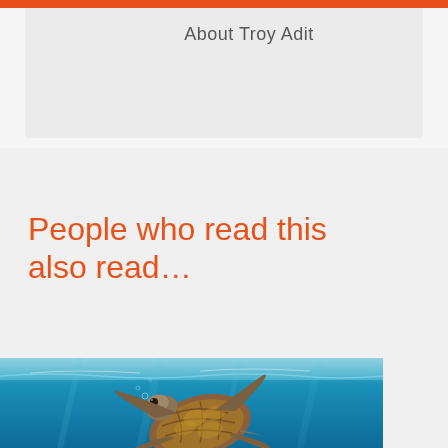About Troy Adit
People who read this also read...
[Figure (photo): Underwater photograph of a sea turtle swimming in clear blue ocean water, viewed from below with water surface visible above]